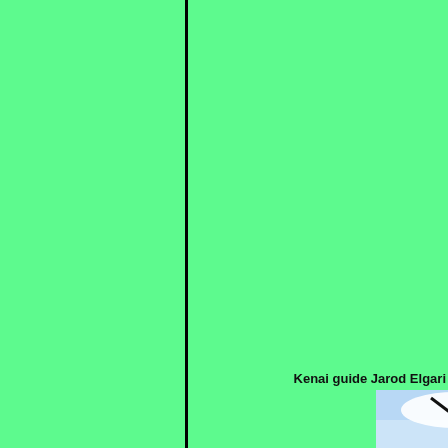[Figure (photo): Left green column separated by a black vertical border from the right green column. At the bottom right is a caption and a photo strip showing a kite/paraglider in a blue sky with mountains.]
Kenai guide Jarod Elgari
[Figure (photo): Partial photo strip at the bottom showing a kite or paraglider against a blue sky with mountains visible at the right edge.]